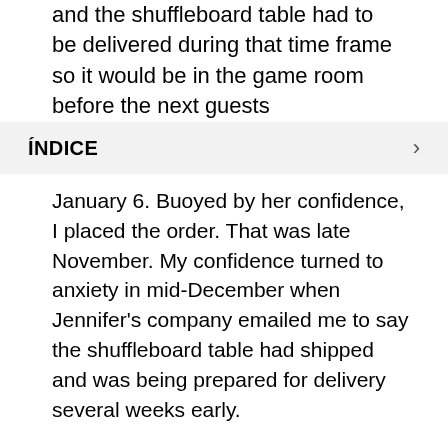and the shuffleboard table had to be delivered during that time frame so it would be in the game room before the next guests
ÍNDICE
January 6. Buoyed by her confidence, I placed the order. That was late November. My confidence turned to anxiety in mid-December when Jennifer's company emailed me to say the shuffleboard table had shipped and was being prepared for delivery several weeks early.
Did Jennifer break her promise?
It took eight contacts and a supervisor getting involved to get the delivery back on track. During that time, my frustration grew and my